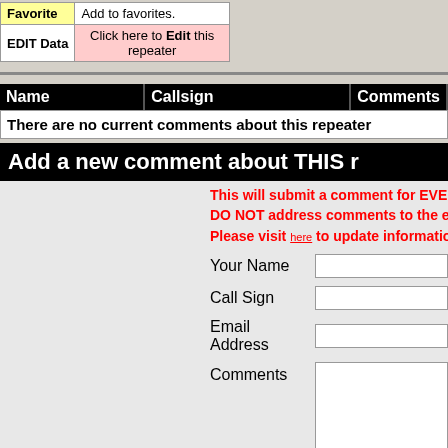| Favorite | Add to favorites. |
| --- | --- |
| EDIT Data | Click here to Edit this repeater |
| Name | Callsign | Comments |
| --- | --- | --- |
| There are no current comments about this repeater |  |  |
Add a new comment about THIS r
This will submit a comment for EVERYONE to rea DO NOT address comments to the editors here. Please visit here to update information about a repea
| Your Name |  |
| Call Sign |  |
| Email Address |  |
| Comments |  |
|  | Submit |